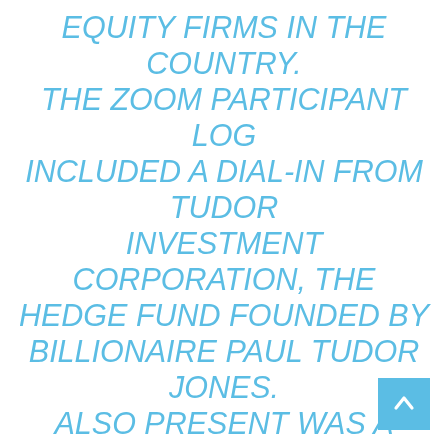EQUITY FIRMS IN THE COUNTRY. THE ZOOM PARTICIPANT LOG INCLUDED A DIAL-IN FROM TUDOR INVESTMENT CORPORATION, THE HEDGE FUND FOUNDED BY BILLIONAIRE PAUL TUDOR JONES. ALSO PRESENT WAS A ROSTER OF HEAVY-HITTING POLITICAL INFLUENCERS, INCLUDING REPUBLICAN CONSULTANT RON CHRISTIE AND LIEBERMAN, WHO SERVES AS A REPRESENTATIVE OF NO LABELS AND NOW ADVISES CORPORATE INTERESTS.